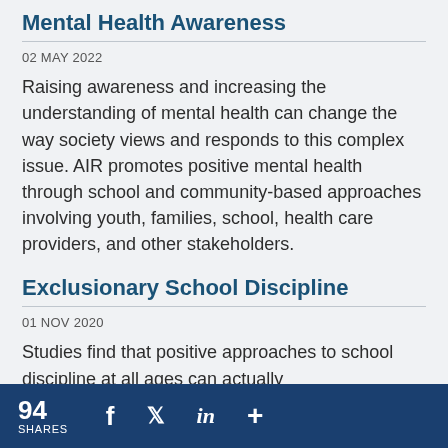Mental Health Awareness
02 MAY 2022
Raising awareness and increasing the understanding of mental health can change the way society views and responds to this complex issue. AIR promotes positive mental health through school and community-based approaches involving youth, families, school, health care providers, and other stakeholders.
Exclusionary School Discipline
01 NOV 2020
Studies find that positive approaches to school discipline at all ages can actually
94 SHARES  f  twitter  in  +